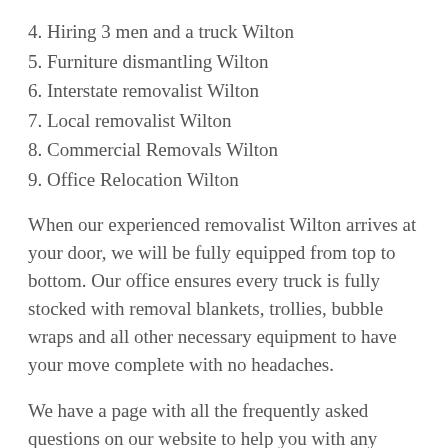4. Hiring 3 men and a truck Wilton
5. Furniture dismantling Wilton
6. Interstate removalist Wilton
7. Local removalist Wilton
8. Commercial Removals Wilton
9. Office Relocation Wilton
When our experienced removalist Wilton arrives at your door, we will be fully equipped from top to bottom. Our office ensures every truck is fully stocked with removal blankets, trollies, bubble wraps and all other necessary equipment to have your move complete with no headaches.
We have a page with all the frequently asked questions on our website to help you with any specific questions you may be having any troubles with.